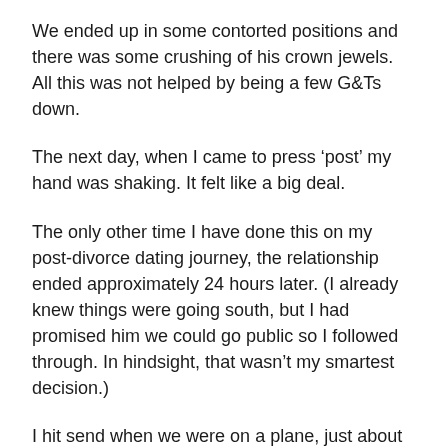We ended up in some contorted positions and there was some crushing of his crown jewels. All this was not helped by being a few G&Ts down.
The next day, when I came to press ‘post’ my hand was shaking. It felt like a big deal.
The only other time I have done this on my post-divorce dating journey, the relationship ended approximately 24 hours later. (I already knew things were going south, but I had promised him we could go public so I followed through. In hindsight, that wasn’t my smartest decision.)
I hit send when we were on a plane, just about to take off to come home from a minibreak. By the time we landed I had many lovely messages from friends and